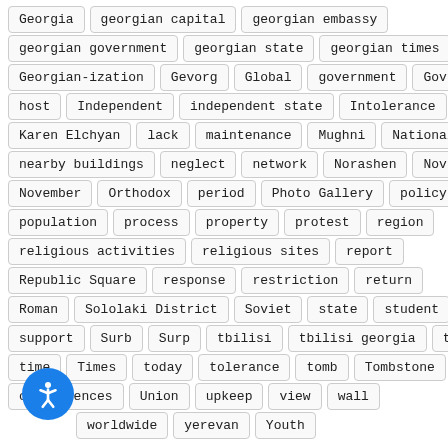Georgia
georgian capital
georgian embassy
georgian government
georgian state
georgian times
Georgian-ization
Gevorg
Global
government
Govt
host
Independent
independent state
Intolerance
Karen Elchyan
lack
maintenance
Mughni
National
nearby buildings
neglect
network
Norashen
Nov
November
Orthodox
period
Photo Gallery
policy
population
process
property
protest
region
religious activities
religious sites
report
Republic Square
response
restriction
return
Roman
Sololaki District
Soviet
state
student
support
Surb
Surp
tbilisi
tbilisi georgia
th
time
Times
today
tolerance
tomb
Tombstone
consequences
Union
upkeep
view
wall
worldwide
yerevan
Youth